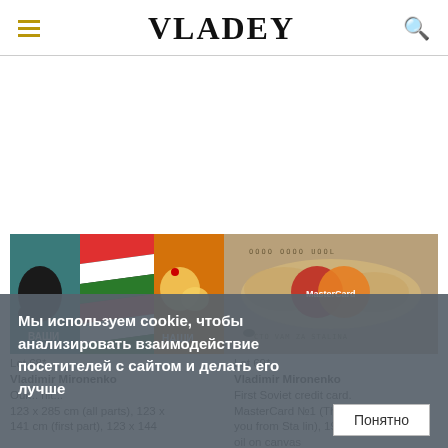VLADEY
[Figure (photo): Artwork by Vladimir Mironenko - triptych with maps labeled ВАШИ and НАШИ with Italian flag chevron pattern in center]
[Figure (photo): Artwork by Vladimir Mironenko - MasterCard Soviet credit card artwork with map of USSR, MasterCard logo, text CTO VAM ZA STALINA]
Lot 68*
Vladimir Mironenko
Our... nit... 123 x 285 cm (all parts), 123 x 141 cm (first part), 123 x 144
Lot 69*
Vladimir Mironenko
First Soviet credit card. MasterCard №1 (This is for all of you from Sta lin), 1989-1990
oil on canvas
95 x 195 cm
Мы используем cookie, чтобы анализировать взаимодействие посетителей с сайтом и делать его лучше